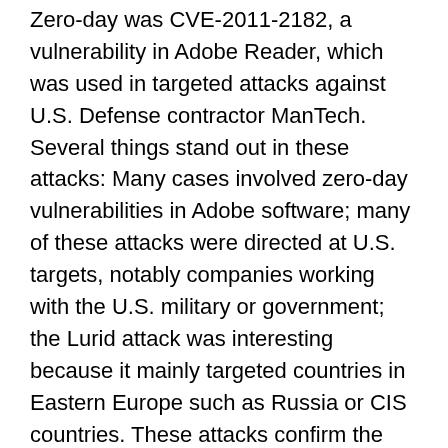Zero-day was CVE-2011-2182, a vulnerability in Adobe Reader, which was used in targeted attacks against U.S. Defense contractor ManTech. Several things stand out in these attacks: Many cases involved zero-day vulnerabilities in Adobe software; many of these attacks were directed at U.S. targets, notably companies working with the U.S. military or government; the Lurid attack was interesting because it mainly targeted countries in Eastern Europe such as Russia or CIS countries. These attacks confirm the emergence of powerful nation-state actors and the establishment of cyber-espionage as common practice. Additionally, many of these attacks seemed to be interconnected and have major global ramifications. For instance, the RSA breach was notable because the attackers stole the database of SecurID tokens, which was later used in another high-profile attack.
4. The Comodo and DigiNotar Incidents
On March 15, 2011 one of the affiliates of Comodo, a company known for its security software and SSL digital certificates, was hacked. The attacker obtained nine fraudulent...